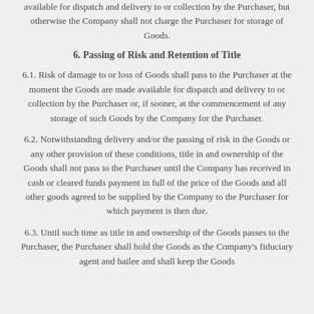available for dispatch and delivery to or collection by the Purchaser, but otherwise the Company shall not charge the Purchaser for storage of Goods.
6. Passing of Risk and Retention of Title
6.1. Risk of damage to or loss of Goods shall pass to the Purchaser at the moment the Goods are made available for dispatch and delivery to or collection by the Purchaser or, if sooner, at the commencement of any storage of such Goods by the Company for the Purchaser.
6.2. Notwithstanding delivery and/or the passing of risk in the Goods or any other provision of these conditions, title in and ownership of the Goods shall not pass to the Purchaser until the Company has received in cash or cleared funds payment in full of the price of the Goods and all other goods agreed to be supplied by the Company to the Purchaser for which payment is then due.
6.3. Until such time as title in and ownership of the Goods passes to the Purchaser, the Purchaser shall hold the Goods as the Company's fiduciary agent and bailee and shall keep the Goods